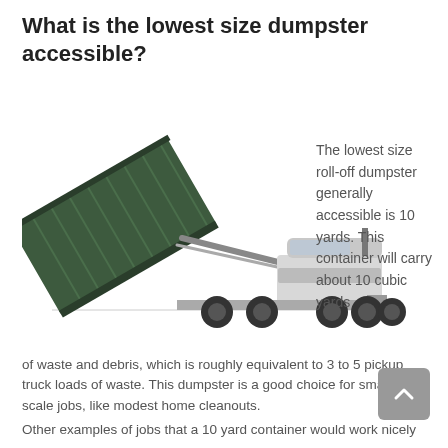What is the lowest size dumpster accessible?
[Figure (photo): A roll-off dumpster being unloaded from a large truck, shown on a white background.]
The lowest size roll-off dumpster generally accessible is 10 yards. This container will carry about 10 cubic yards of waste and debris, which is roughly equivalent to 3 to 5 pickup truck loads of waste. This dumpster is a good choice for small-scale jobs, like modest home cleanouts.
Other examples of jobs that a 10 yard container would work nicely